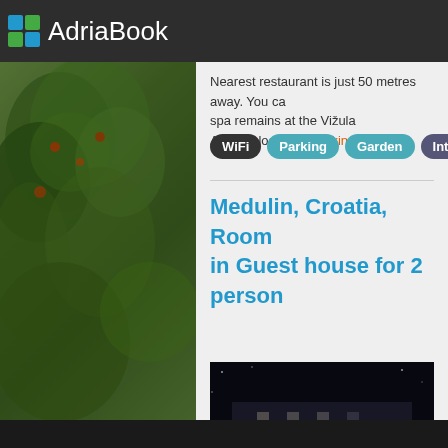AdriaBook
Nearest restaurant is just 50 metres away. You can see spa remains at the Vižula Archaeological... booking
WiFi
Parking
Garden
Internet
Safety dep
Medulin, Croatia, Room in Guest house for 2 person
[Figure (photo): Night photo of a guest house with illuminated pool and building lights in Medulin, Croatia]